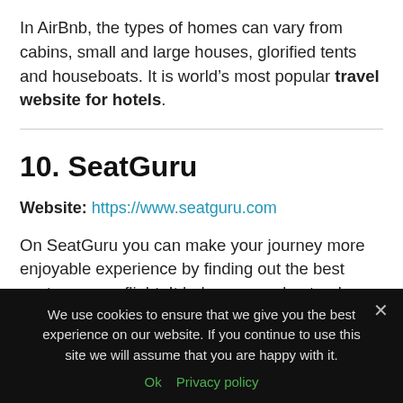In AirBnb, the types of homes can vary from cabins, small and large houses, glorified tents and houseboats. It is world’s most popular travel website for hotels.
10. SeatGuru
Website: https://www.seatguru.com
On SeatGuru you can make your journey more enjoyable experience by finding out the best seats on your flight. It helps you understand which seats are better for the
We use cookies to ensure that we give you the best experience on our website. If you continue to use this site we will assume that you are happy with it.
Ok  Privacy policy